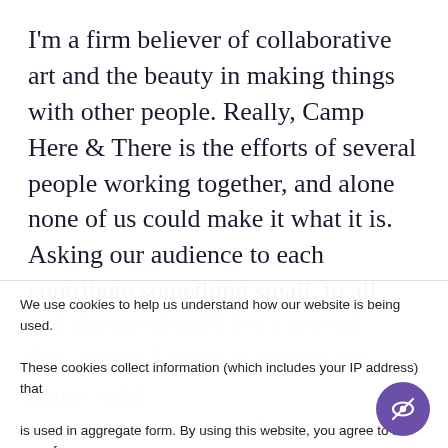I'm a firm believer of collaborative art and the beauty in making things with other people. Really, Camp Here & There is the efforts of several people working together, and alone none of us could make it what it is. Asking our audience to each contribute something small, to all help build the show, felt like everyone was putting a hand together to create what we love. That… well, it's moving. I have to be ham
We use cookies to help us understand how our website is being used. These cookies collect information (which includes your IP address) that is used in aggregate form. By using this website, you agree to the use of cookies.
I accept